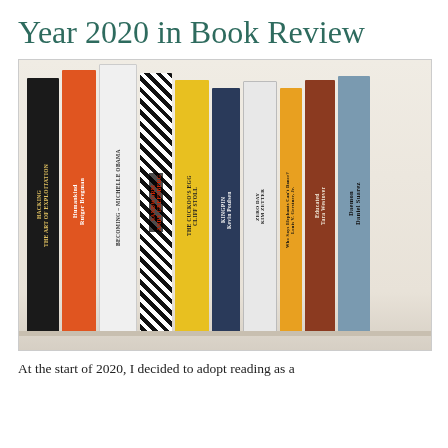Year 2020 in Book Review
[Figure (photo): A row of books standing upright on a shelf, including titles: Hacking: The Art of Exploitation, Humankind by Rutger Bregman, Becoming by Michelle Obama, Sandworm by Andy Greenberg, The Cuckoo's Egg by Cliff Stoll, Kingpin by Kevin Poulsen, Zero Day by Kim Zetter, Who Says Elephants Can't Dance? by Louis V. Gerstner Jr., Educated by Tara Westover, Daemon by Daniel Suarez]
At the start of 2020, I decided to adopt reading as a